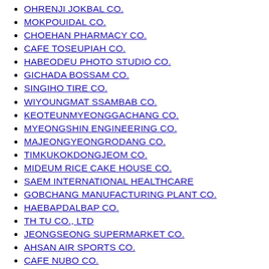OHRENJI JOKBAL CO.
MOKPOUIDAL CO.
CHOEHAN PHARMACY CO.
CAFE TOSEUPIAH CO.
HABEODEU PHOTO STUDIO CO.
GICHADA BOSSAM CO.
SINGIHO TIRE CO.
WIYOUNGMAT SSAMBAB CO.
KEOTEUNMYEONGGACHANG CO.
MYEONGSHIN ENGINEERING CO.
MAJEONGYEONGRODANG CO.
TIMKUKOKDONGJEOM CO.
MIDEUM RICE CAKE HOUSE CO.
SAEM INTERNATIONAL HEALTHCARE
GOBCHANG MANUFACTURING PLANT CO.
HAEBAPDALBAP CO.
TH TU CO., LTD
JEONGSEONG SUPERMARKET CO.
AHSAN AIR SPORTS CO.
CAFE NUBO CO.
YEOJUSAM HYUNGJE FARM CORPORATION CO., LTD
BIBAYIBODIGADEUYIMATEUSEJONGJEOM CO.
HANA B CO.
PEURENCHISIKEU CO.